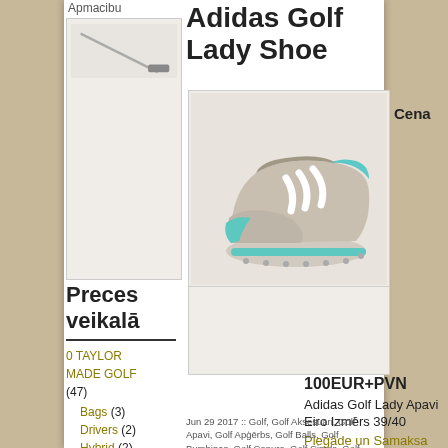Apmacibu
Adidas Golf Lady Shoe
[Figure (photo): Golf club photo thumbnail in top-left corner]
Cena
[Figure (photo): Adidas Golf Lady Shoe - beige/tan golf shoe with teal/aqua accents and white stripes]
Preces veikalā
0 TAYLOR MADE GOLF (47)
Bags (3)
Drivers (2)
Hybrid (2)
Irons (2)
Putters (4)
Wedges (2)
100EUR+PVN
Adidas Golf Lady Apavi
Eiro Izmērs 39/40
Piegāde un Samaksa
Jun 29 2017 :: Golf, Golf Aksesuāri, Golf Apavi, Golf Apģērbs, Golf Balls, Golf Bumbiņas, Golf Cepure, Golf Cimds, Golf Club, Golf Clubs, Golf Clubs and Equipment, Golf Course, Golf Dāvana, Golf Discount, Golf Driver, Golf Equipment, GOLF Go..., Golf Glove, Golf G...